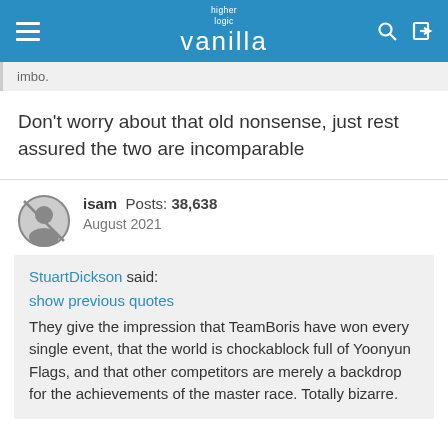higher logic vanilla
imbo.
Don't worry about that old nonsense, just rest assured the two are incomparable
isam  Posts: 38,638
August 2021
StuartDickson said:
show previous quotes
They give the impression that TeamBoris have won every single event, that the world is chockablock full of Yoonyun Flags, and that other competitors are merely a backdrop for the achievements of the master race. Totally bizarre.